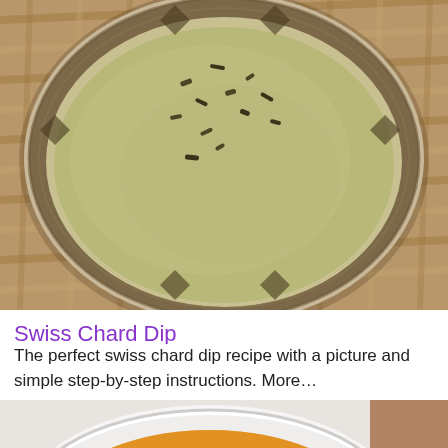[Figure (photo): A bowl of swiss chard dip, greenish-beige colored creamy soup/dip with dried herb flakes on top, served in a ceramic bowl with geometric pattern rim, placed on a woven straw placemat.]
Swiss Chard Dip
The perfect swiss chard dip recipe with a picture and simple step-by-step instructions. More…
[Figure (photo): A round white baking dish containing a gratin or casserole with sliced yellow zucchini/squash arranged in overlapping circles, baked with a golden-orange cheesy top, placed on a white surface with a wooden floor visible in the background.]